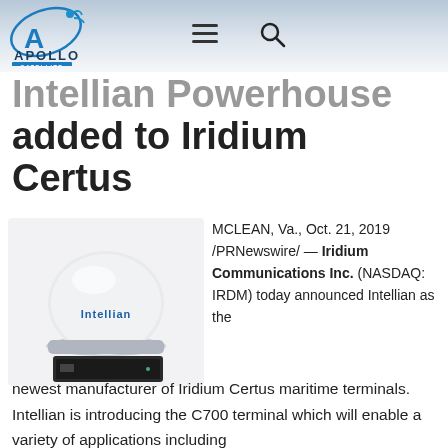Apollo Satellite — navigation header with logo, hamburger menu, and search icon
Intellian Powerhouse added to Iridium Certus
[Figure (photo): Intellian C700 satellite dome antenna (white dome on pedestal) with a black modem/terminal box in front, branded with 'Intellian' logo]
MCLEAN, Va., Oct. 21, 2019 /PRNewswire/ — Iridium Communications Inc. (NASDAQ: IRDM) today announced Intellian as the newest manufacturer of Iridium Certus maritime terminals. Intellian is introducing the C700 terminal which will enable a variety of applications including